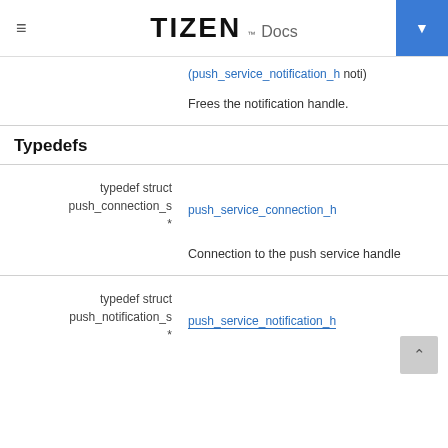TIZEN Docs
(push_service_notification_h noti)
Frees the notification handle.
Typedefs
typedef struct push_connection_s *
push_service_connection_h
Connection to the push service handle
typedef struct push_notification_s *
push_service_notification_h